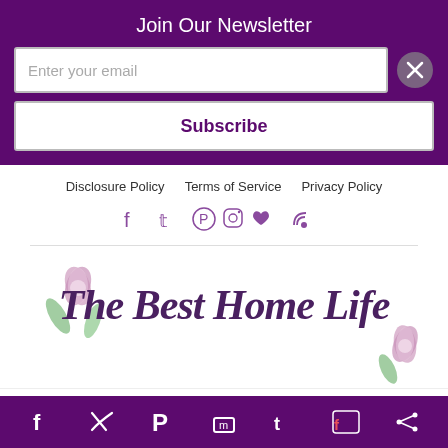Join Our Newsletter
Enter your email
Subscribe
Disclosure Policy   Terms of Service   Privacy Policy
[Figure (logo): Social media icons: Facebook, Twitter, Pinterest, Instagram, Heart, RSS]
[Figure (logo): The Best Home Life blog logo with floral watercolor decoration]
This website uses cookies to improve your experience. We'll assume you're ok with this, but you can opt-out if you wish.
Cookie settings   Accept
[Figure (logo): Bottom social share bar with Facebook, Twitter, Pinterest, Mix, Tumblr, Flipboard, Share icons on purple background]